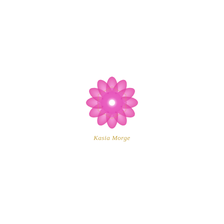[Figure (logo): Pink lotus flower mandala logo with a white glowing center and gold geometric outlines, above the text 'Kasia Morge' in gold italic script]